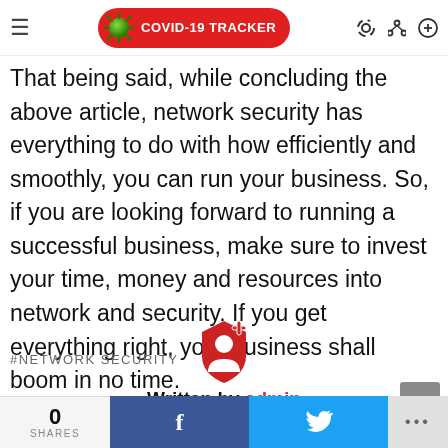COVID-19 TRACKER navigation bar
That being said, while concluding the above article, network security has everything to do with how efficiently and smoothly, you can run your business. So, if you are looking forward to running a successful business, make sure to invest your time, money and resources into network and security. If you get everything right, your business shall boom in no time.
#NETWORK SECURITY
[Figure (logo): Red author/admin shield-like icon with person silhouette]
Written by admin
I am Youtube USER
0 SHARES | f | bird icon | ...